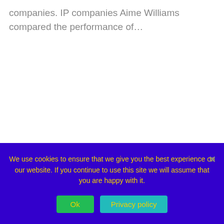companies. IP companies Aime Williams compared the performance of…
We use cookies to ensure that we give you the best experience on our website. If you continue to use this site we will assume that you are happy with it.